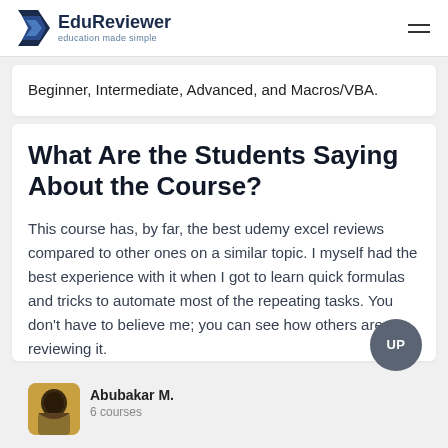EduReviewer — education made simple
Beginner, Intermediate, Advanced, and Macros/VBA.
What Are the Students Saying About the Course?
This course has, by far, the best udemy excel reviews compared to other ones on a similar topic. I myself had the best experience with it when I got to learn quick formulas and tricks to automate most of the repeating tasks. You don't have to believe me; you can see how others are reviewing it.
Abubakar M.
6 courses